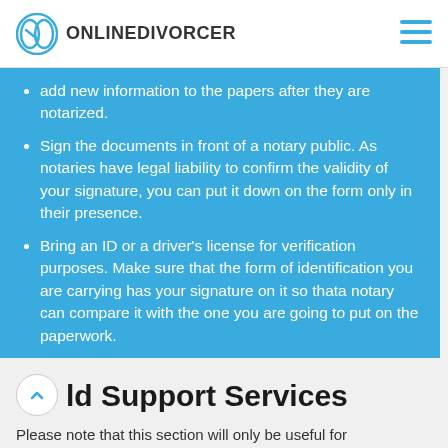ONLINEDIVORCER
add new information to the papers after they are notarized.
Sign the documents in front of a notary public. As notaries have legal liability to confirm the validity of your signature, you can put it down on the form only in their presence.
Bring an ID or a driver's license for verification purposes. Make sure that the form of identification you are carrying has your signature on it so thata notary can compare it with the one you are going to put on the paperwork.
ld Support Services
Please note that this section will only be useful for